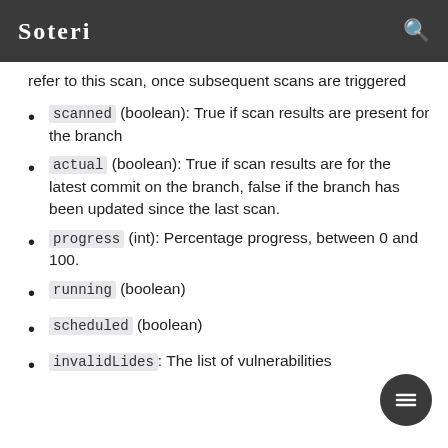Soteri
refer to this scan, once subsequent scans are triggered
scanned (boolean): True if scan results are present for the branch
actual (boolean): True if scan results are for the latest commit on the branch, false if the branch has been updated since the last scan.
progress (int): Percentage progress, between 0 and 100.
running (boolean)
scheduled (boolean)
invalidLides: The list of vulnerabilities